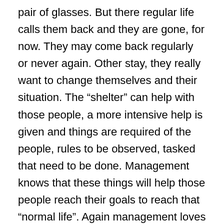pair of glasses. But there regular life calls them back and they are gone, for now. They may come back regularly or never again. Other stay, they really want to change themselves and their situation. The “shelter” can help with those people, a more intensive help is given and things are required of the people, rules to be observed, tasked that need to be done. Management knows that these things will help those people reach their goals to reach that “normal life”. Again management loves these people just as much as they love the people in the other part of the “shelter”. They maybe more familiar with these ones, having had more face time with them and have a stronger bond, but both groups are loved. The overall goal of the